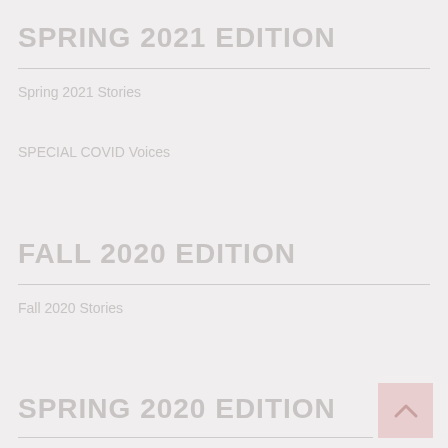SPRING 2021 EDITION
Spring 2021 Stories
SPECIAL COVID Voices
FALL 2020 EDITION
Fall 2020 Stories
SPRING 2020 EDITION